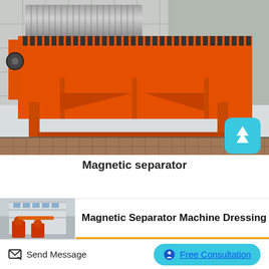[Figure (photo): Large orange industrial magnetic separator machine sitting outdoors on pavement near a building wall. The machine has a cylindrical drum at top, orange-painted trough with serrated top edge, sturdy orange steel frame with legs and cross-bracing.]
Magnetic separator
[Figure (photo): Thumbnail image of a factory building exterior with red industrial equipment (separators) visible in front.]
Magnetic Separator Machine Dressing
Send Message
Free Consultation